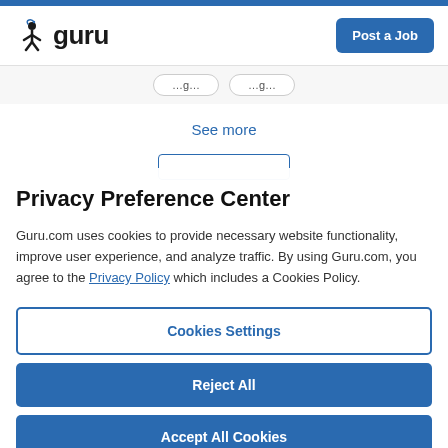[Figure (logo): Guru.com logo with stylized figure icon and wordmark]
Post a Job
See more
Privacy Preference Center
Guru.com uses cookies to provide necessary website functionality, improve user experience, and analyze traffic. By using Guru.com, you agree to the Privacy Policy which includes a Cookies Policy.
Cookies Settings
Reject All
Accept All Cookies